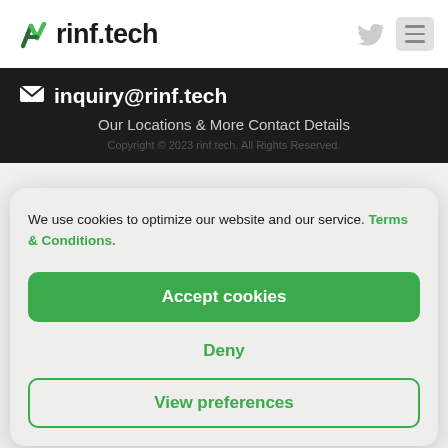rinf.tech
inquiry@rinf.tech
Our Locations & More Contact Details
Copyright © 2023 rinf.tech. All Rights Reserved.
We use cookies to optimize our website and our service. Terms & Conditions.
Accept cookies
Deny
View preferences